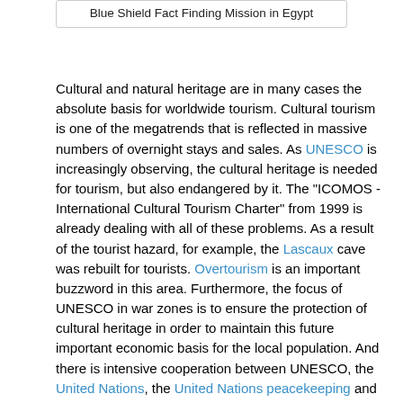Blue Shield Fact Finding Mission in Egypt
Cultural and natural heritage are in many cases the absolute basis for worldwide tourism. Cultural tourism is one of the megatrends that is reflected in massive numbers of overnight stays and sales. As UNESCO is increasingly observing, the cultural heritage is needed for tourism, but also endangered by it. The "ICOMOS - International Cultural Tourism Charter" from 1999 is already dealing with all of these problems. As a result of the tourist hazard, for example, the Lascaux cave was rebuilt for tourists. Overtourism is an important buzzword in this area. Furthermore, the focus of UNESCO in war zones is to ensure the protection of cultural heritage in order to maintain this future important economic basis for the local population. And there is intensive cooperation between UNESCO, the United Nations, the United Nations peacekeeping and Blue Shield International. There are extensive international and national considerations, studies and programs to protect cultural